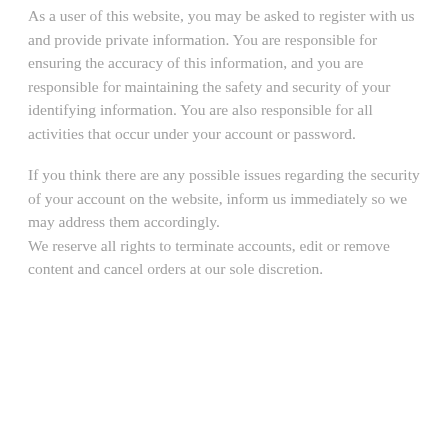As a user of this website, you may be asked to register with us and provide private information. You are responsible for ensuring the accuracy of this information, and you are responsible for maintaining the safety and security of your identifying information. You are also responsible for all activities that occur under your account or password.
If you think there are any possible issues regarding the security of your account on the website, inform us immediately so we may address them accordingly. We reserve all rights to terminate accounts, edit or remove content and cancel orders at our sole discretion.